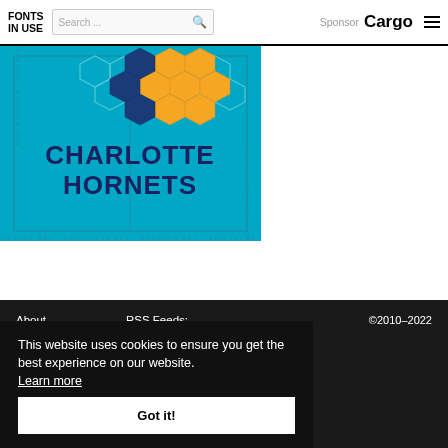FONTS IN USE | Search ... | Sponsor Cargo
[Figure (illustration): Charlotte Hornets branded graphic on teal background with yellow and blue hexagon pattern and text 'CHARLOTTE HORNETS' in bold navy font]
About | FAQ | RSS Feeds: | Tiny in use | ©2010–2022
This website uses cookies to ensure you get the best experience on our website. Learn more
Got it!